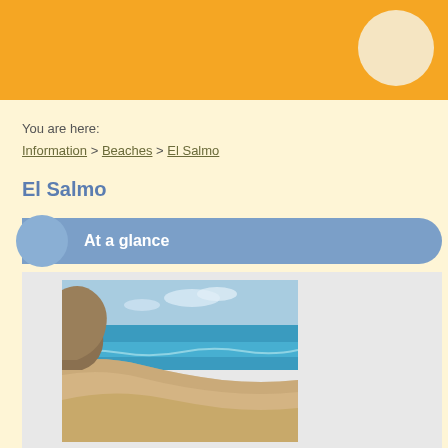You are here:
Information > Beaches > El Salmo
El Salmo
At a glance
[Figure (photo): Aerial/elevated view of El Salmo beach showing sandy shoreline curving along turquoise-blue ocean water with sandy dunes and scrubby vegetation in the foreground, cliffs on the left side.]